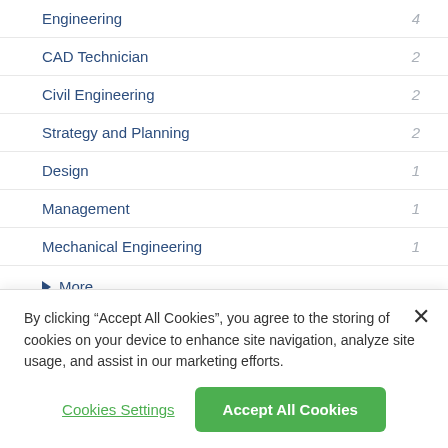Engineering 4
CAD Technician 2
Civil Engineering 2
Strategy and Planning 2
Design 1
Management 1
Mechanical Engineering 1
More
RECRUITERS
Advance TBS Ltd 8
By clicking “Accept All Cookies”, you agree to the storing of cookies on your device to enhance site navigation, analyze site usage, and assist in our marketing efforts.
Cookies Settings
Accept All Cookies